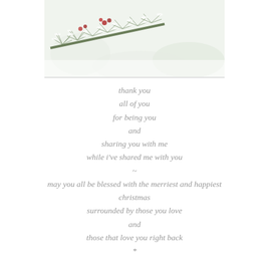[Figure (photo): Close-up photo of snow-dusted pine branches with red berries/cones against a white snowy background]
thank you
all of you
for being you
and
sharing you with me
while i've shared me with you
~
may you all be blessed with the merriest and happiest christmas
surrounded by those you love
and
those that love you right back
*